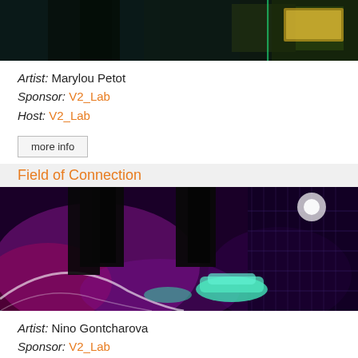[Figure (photo): Dark indoor photo, partial view of a dimly lit room with teal/green neon lighting and a glowing display or artwork in background]
Artist: Marylou Petot
Sponsor: V2_Lab
Host: V2_Lab
more info
Field of Connection
[Figure (photo): Photo of people's legs/feet on an interactive glowing floor installation with purple, pink, and white light patterns. One person wearing white sneakers.]
Artist: Nino Gontcharova
Sponsor: V2_Lab
Host: V2_Lab
more info